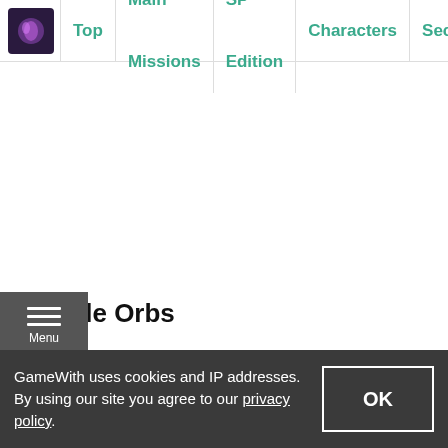Top | Main Missions | SP Edition | Characters | Secret
Purple Orbs
| Uses Of The Purple Orb |
| --- |
GameWith uses cookies and IP addresses. By using our site you agree to our privacy policy.